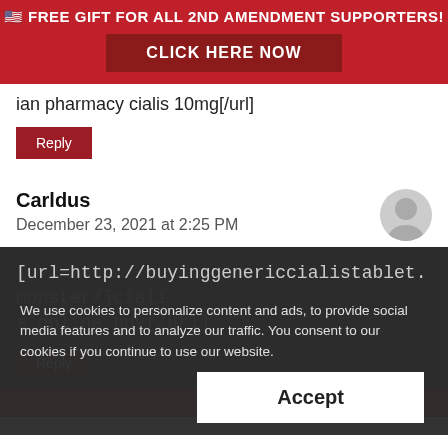[Figure (infographic): Red banner advertisement: US flag emoji, text 'FREE GIFT FOR ALL 2ND AMENDMENT SUPPORTERS!' with a dark red 'CLICK HERE NOW' button]
ian pharmacy cialis 10mg[/url]
Reply
Carldus
December 23, 2021 at 2:25 PM
[url=http://buyinggenericcialistablet.monster/]cialis online buy[/url]
Reply
We use cookies to personalize content and ads, to provide social media features and to analyze our traffic. You consent to our cookies if you continue to use our website.
Accept